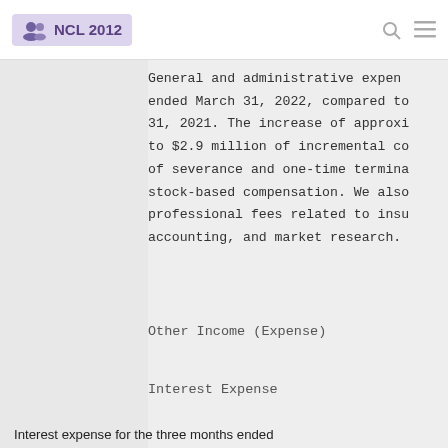NCL 2012
General and administrative expense for the three months ended March 31, 2022, compared to the three months ended March 31, 2021. The increase of approximately... to $2.9 million of incremental co... of severance and one-time termina... stock-based compensation. We also... professional fees related to insu... accounting, and market research.
Other Income (Expense)
Interest Expense
Interest expense for the three months ended March 31, 2022 consisted primarily of interest